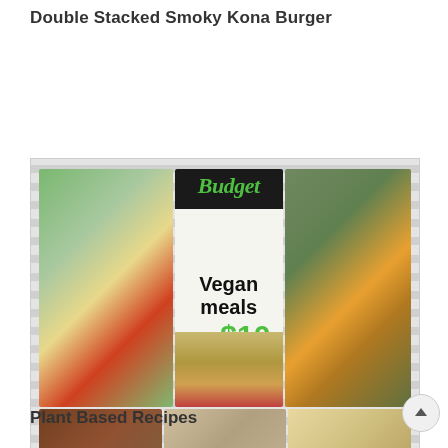Double Stacked Smoky Kona Burger
[Figure (photo): Collage image showing 'Vegan meals under $10' with food photos including tacos, grain dishes, and vegetable bowls arranged in a grid]
Plant Based Recipes